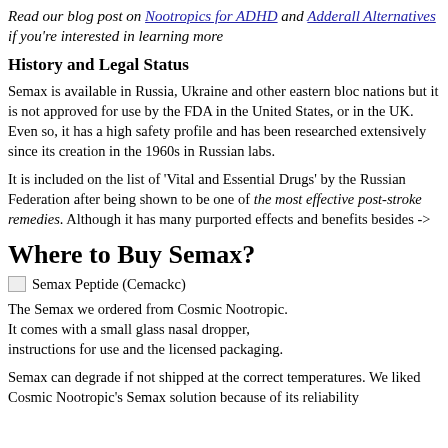Read our blog post on Nootropics for ADHD and Adderall Alternatives if you're interested in learning more
History and Legal Status
Semax is available in Russia, Ukraine and other eastern bloc nations but it is not approved for use by the FDA in the United States, or in the UK. Even so, it has a high safety profile and has been researched extensively since its creation in the 1960s in Russian labs.
It is included on the list of 'Vital and Essential Drugs' by the Russian Federation after being shown to be one of the most effective post-stroke remedies. Although it has many purported effects and benefits besides ->
Where to Buy Semax?
[Figure (photo): Semax Peptide (Семакс) product image]
Semax Peptide (Cemackc)
The Semax we ordered from Cosmic Nootropic.
It comes with a small glass nasal dropper,
instructions for use and the licensed packaging.
Semax can degrade if not shipped at the correct temperatures. We liked Cosmic Nootropic's Semax solution because of its reliability